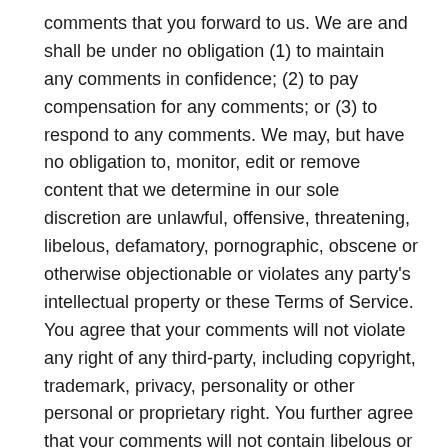comments that you forward to us. We are and shall be under no obligation (1) to maintain any comments in confidence; (2) to pay compensation for any comments; or (3) to respond to any comments. We may, but have no obligation to, monitor, edit or remove content that we determine in our sole discretion are unlawful, offensive, threatening, libelous, defamatory, pornographic, obscene or otherwise objectionable or violates any party's intellectual property or these Terms of Service. You agree that your comments will not violate any right of any third-party, including copyright, trademark, privacy, personality or other personal or proprietary right. You further agree that your comments will not contain libelous or otherwise unlawful, abusive or obscene material, or contain any computer virus or other malware that could in any way affect the operation of the Service or any related website. You may not use a false e-mail address, pretend to be someone other than yourself, or